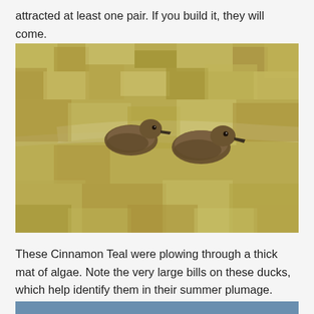attracted at least one pair. If you build it, they will come.
[Figure (photo): Two Cinnamon Teal ducks swimming through a thick mat of green and yellow algae on the water surface.]
These Cinnamon Teal were plowing through a thick mat of algae. Note the very large bills on these ducks, which help identify them in their summer plumage.